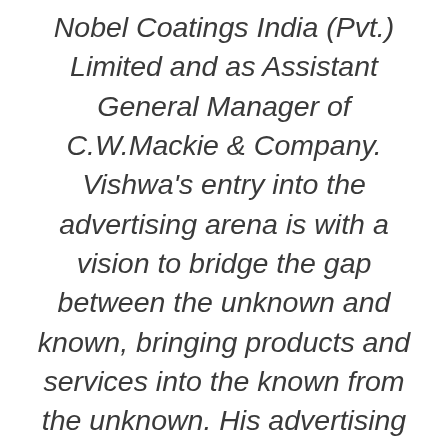Nobel Coatings India (Pvt.) Limited and as Assistant General Manager of C.W.Mackie & Company. Vishwa's entry into the advertising arena is with a vision to bridge the gap between the unknown and known, bringing products and services into the known from the unknown. His advertising philosophy is 'Create a Difference', ensuring his clients and their products stand out from the rest. He holds a Master of Business Administration degree from the